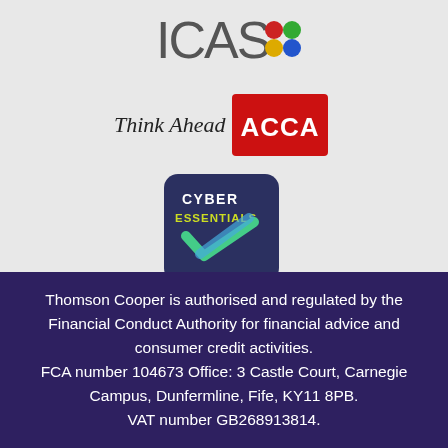[Figure (logo): ICAS logo with text 'ICAS' and colored dots (red, green, yellow, blue)]
[Figure (logo): ACCA 'Think Ahead' logo with red background and white ACCA text]
[Figure (logo): Cyber Essentials badge with dark navy background, green and cyan checkmark]
Thomson Cooper is authorised and regulated by the Financial Conduct Authority for financial advice and consumer credit activities. FCA number 104673 Office: 3 Castle Court, Carnegie Campus, Dunfermline, Fife, KY11 8PB. VAT number GB268913814.